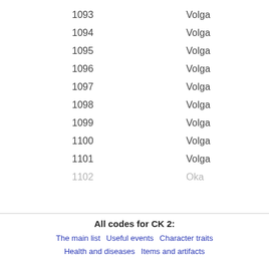| Code | Name |
| --- | --- |
| 1093 | Volga |
| 1094 | Volga |
| 1095 | Volga |
| 1096 | Volga |
| 1097 | Volga |
| 1098 | Volga |
| 1099 | Volga |
| 1100 | Volga |
| 1101 | Volga |
| 1102 | Oka |
All codes for CK 2:
The main list
Useful events
Character traits
Health and diseases
Items and artifacts